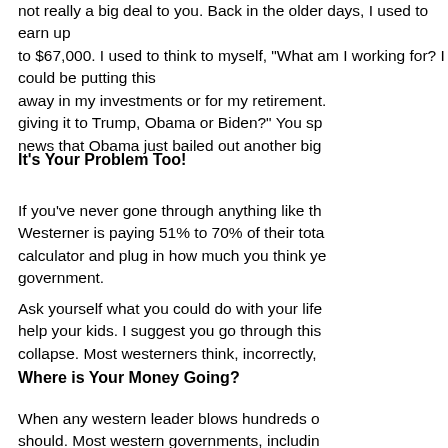not really a big deal to you. Back in the older days, I used to earn up to $67,000. I used to think to myself, "What am I working for? I could be putting this away in my investments or for my retirement. Instead, I'm giving it to Trump, Obama or Biden?" You spend your time watching the news that Obama just bailed out another big
It's Your Problem Too!
If you've never gone through anything like this, consider that the average Westerner is paying 51% to 70% of their total income to government. Get a calculator and plug in how much you think you're actually giving to the government.
Ask yourself what you could do with your life savings. You could retire, help your kids. I suggest you go through this before the western economy collapse. Most westerners think, incorrectly,
Where is Your Money Going?
When any western leader blows hundreds of billions on things they shouldn't. Most western governments, includin